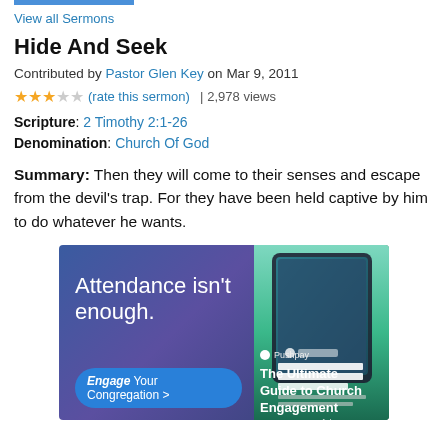View all Sermons
Hide And Seek
Contributed by Pastor Glen Key on Mar 9, 2011
★★★☆☆ (rate this sermon) | 2,978 views
Scripture: 2 Timothy 2:1-26
Denomination: Church Of God
Summary: Then they will come to their senses and escape from the devil's trap. For they have been held captive by him to do whatever he wants.
[Figure (screenshot): Advertisement banner for Pushpay 'The Ultimate Guide to Church Engagement' with text 'Attendance isn't enough. Engage Your Congregation >' and an image of a tablet showing the guide cover.]